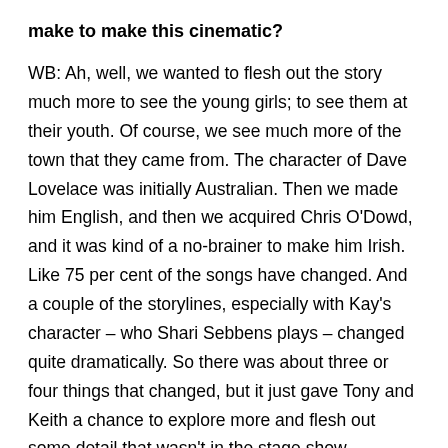make to make this cinematic?
WB: Ah, well, we wanted to flesh out the story much more to see the young girls; to see them at their youth. Of course, we see much more of the town that they came from. The character of Dave Lovelace was initially Australian. Then we made him English, and then we acquired Chris O'Dowd, and it was kind of a no-brainer to make him Irish. Like 75 per cent of the songs have changed. And a couple of the storylines, especially with Kay's character – who Shari Sebbens plays – changed quite dramatically. So there was about three or four things that changed, but it just gave Tony and Keith a chance to explore more and flesh out some detail that wasn't in the stage show.
SM: Tell me about getting the cast together, and